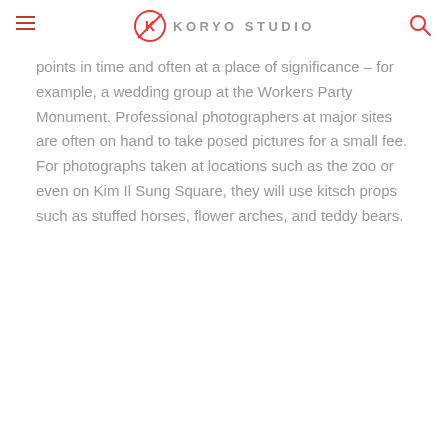KORYO STUDIO
points in time and often at a place of significance – for example, a wedding group at the Workers Party Monument. Professional photographers at major sites are often on hand to take posed pictures for a small fee. For photographs taken at locations such as the zoo or even on Kim Il Sung Square, they will use kitsch props such as stuffed horses, flower arches, and teddy bears.